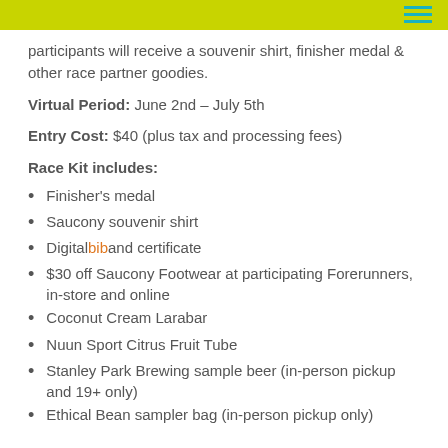participants will receive a souvenir shirt, finisher medal & other race partner goodies.
Virtual Period: June 2nd – July 5th
Entry Cost: $40 (plus tax and processing fees)
Race Kit includes:
Finisher's medal
Saucony souvenir shirt
Digital bib and certificate
$30 off Saucony Footwear at participating Forerunners, in-store and online
Coconut Cream Larabar
Nuun Sport Citrus Fruit Tube
Stanley Park Brewing sample beer (in-person pickup and 19+ only)
Ethical Bean sampler bag (in-person pickup only)